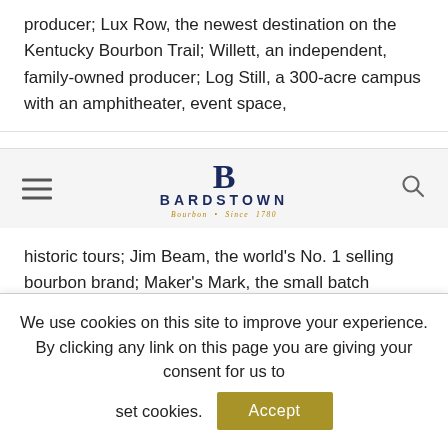producer; Lux Row, the newest destination on the Kentucky Bourbon Trail; Willett, an independent, family-owned producer; Log Still, a 300-acre campus with an amphitheater, event space,
[Figure (logo): Bardstown Bourbon Company logo with stylized 'B' monogram, 'BARDSTOWN' text in navy, and gold italic subtitle text]
historic tours; Jim Beam, the world's No. 1 selling bourbon brand; Maker's Mark, the small batch bourbon known for its iconic red-waxed bottle necks; and the Four Roses Warehouse & Bottling Facility, where 10 distinct bourbon recipes are aged and processed.

Warm yourself from the inside out with classic Kentucky dishes like the Hot Brown or burgoo at Old Talbott Tavern, the nation's
We use cookies on this site to improve your experience. By clicking any link on this page you are giving your consent for us to set cookies.